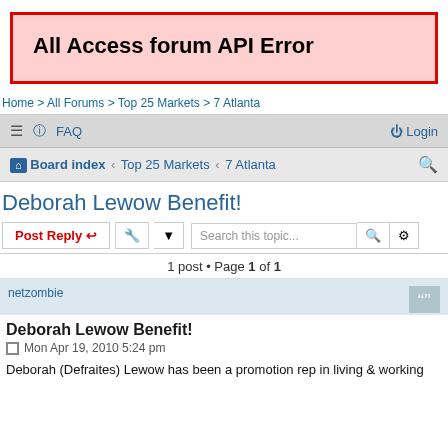All Access forum API Error
Home > All Forums > Top 25 Markets > 7 Atlanta
≡  ? FAQ    Login
Board index  ‹  Top 25 Markets  ‹  7 Atlanta
Deborah Lewow Benefit!
Post Reply  [tools]  Search this topic...
1 post • Page 1 of 1
netzombie
Deborah Lewow Benefit!
Mon Apr 19, 2010 5:24 pm
Deborah (Defraites) Lewow has been a promotion rep in living & working